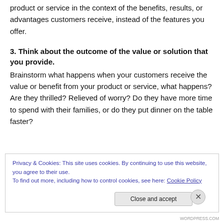product or service in the context of the benefits, results, or advantages customers receive, instead of the features you offer.
3. Think about the outcome of the value or solution that you provide.
Brainstorm what happens when your customers receive the value or benefit from your product or service, what happens? Are they thrilled? Relieved of worry? Do they have more time to spend with their families, or do they put dinner on the table faster?
Privacy & Cookies: This site uses cookies. By continuing to use this website, you agree to their use.
To find out more, including how to control cookies, see here: Cookie Policy